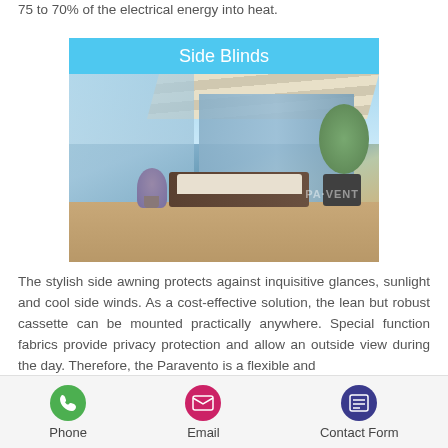75 to 70% of the electrical energy into heat.
[Figure (photo): Side Blinds product card showing a patio with a retractable side awning/blind in blue-grey, with lounge chairs, plants, and outdoor setting]
Side Blinds
The stylish side awning protects against inquisitive glances, sunlight and cool side winds. As a cost-effective solution, the lean but robust cassette can be mounted practically anywhere. Special function fabrics provide privacy protection and allow an outside view during the day. Therefore, the Paravento is a flexible and
Phone   Email   Contact Form